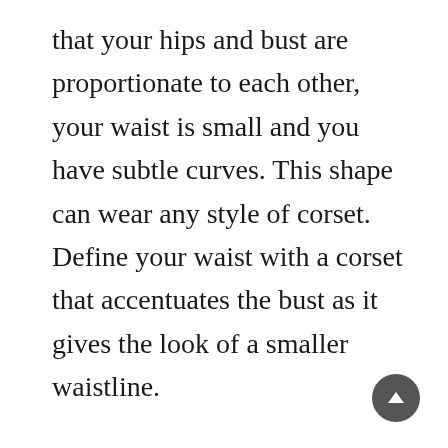that your hips and bust are proportionate to each other, your waist is small and you have subtle curves. This shape can wear any style of corset. Define your waist with a corset that accentuates the bust as it gives the look of a smaller waistline.